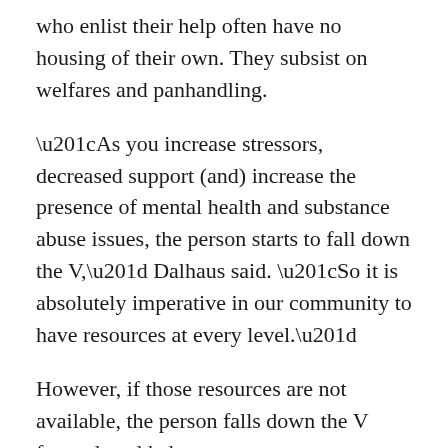who enlist their help often have no housing of their own. They subsist on welfares and panhandling.
“As you increase stressors, decreased support (and) increase the presence of mental health and substance abuse issues, the person starts to fall down the V,” Dalhaus said. “So it is absolutely imperative in our community to have resources at every level.”
However, if those resources are not available, the person falls down the V faster, he added.
“It just takes a lot of little, little steps,” Dalhaus